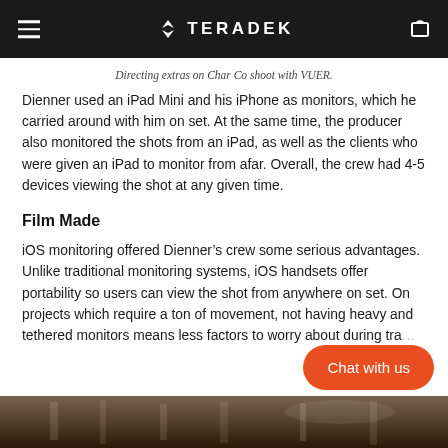TERADEK
Directing extras on Char Co shoot with VUER.
Dienner used an iPad Mini and his iPhone as monitors, which he carried around with him on set. At the same time, the producer also monitored the shots from an iPad, as well as the clients who were given an iPad to monitor from afar. Overall, the crew had 4-5 devices viewing the shot at any given time.
Film Made
iOS monitoring offered Dienner’s crew some serious advantages. Unlike traditional monitoring systems, iOS handsets offer portability so users can view the shot from anywhere on set. On projects which require a ton of movement, not having heavy and tethered monitors means less factors to worry about during tra…
[Figure (photo): Bottom strip showing a dark photo of a film set with ceiling lights visible]